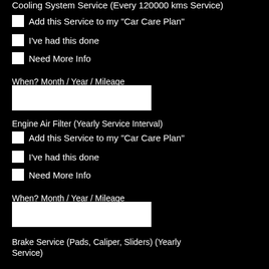Cooling System Service (Every 120000 kms Service)
Add this Service to my "Car Care Plan"
I've had this done
Need More Info
When? Month / Year / Mileage
Engine Air Filter (Yearly Service Interval)
Add this Service to my "Car Care Plan"
I've had this done
Need More Info
When? Month / Year / Mileage
Brake Service (Pads, Caliper, Sliders) (Yearly Service)